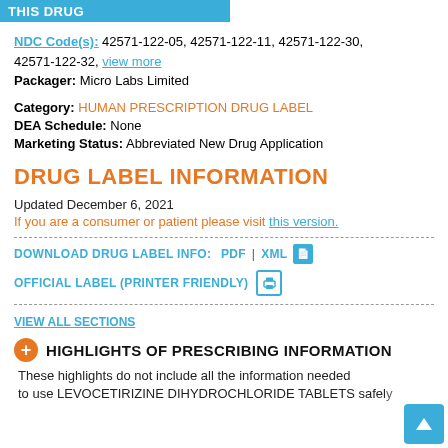THIS DRUG
NDC Code(s): 42571-122-05, 42571-122-11, 42571-122-30, 42571-122-32, view more
Packager: Micro Labs Limited
Category: HUMAN PRESCRIPTION DRUG LABEL
DEA Schedule: None
Marketing Status: Abbreviated New Drug Application
DRUG LABEL INFORMATION
Updated December 6, 2021
If you are a consumer or patient please visit this version.
DOWNLOAD DRUG LABEL INFO: PDF | XML
OFFICIAL LABEL (PRINTER FRIENDLY)
VIEW ALL SECTIONS
HIGHLIGHTS OF PRESCRIBING INFORMATION
These highlights do not include all the information needed to use LEVOCETIRIZINE DIHYDROCHLORIDE TABLETS safely